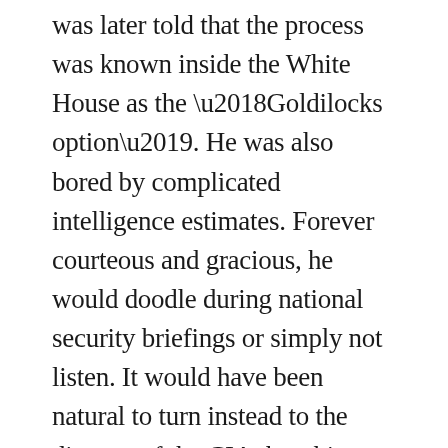was later told that the process was known inside the White House as the ‘Goldilocks option’. He was also bored by complicated intelligence estimates. Forever courteous and gracious, he would doodle during national security briefings or simply not listen. It would have been natural to turn instead to the director of the CIA, but this was William Casey, a former businessman and Nixon aide who had been controversially appointed by Reagan as the reward for managing his 1980 election campaign. As the intelligence professionals working with the executive saw it, Casey was reckless, uninformed, and said far